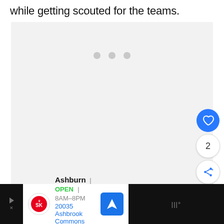while getting scouted for the teams.
[Figure (screenshot): A light gray media/video loading placeholder box with three small gray dots near the top center, indicating a loading or empty media state.]
[Figure (infographic): Floating action buttons on the right side: a blue circle with a white heart icon, a white circle with the number 2, and a white circle with a share/add icon.]
[Figure (screenshot): Advertisement bar at the bottom showing Smoothie King Ashburn location: OPEN 8AM-8PM, address 20035 Ashbrook Commons Plaza, Unit. Includes logo, navigation icon, and dark strips on left and right sides.]